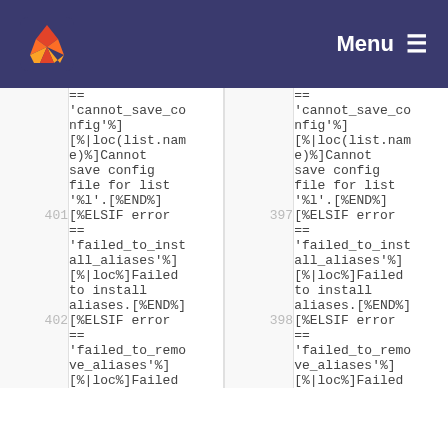GitLab navigation bar with logo and Menu
Diff view showing two columns of code with line numbers 401, 402 on left and 397, 398 on right. Code content includes template error handling blocks for 'cannot_save_config', 'failed_to_install_aliases', and 'failed_to_remove_aliases'.